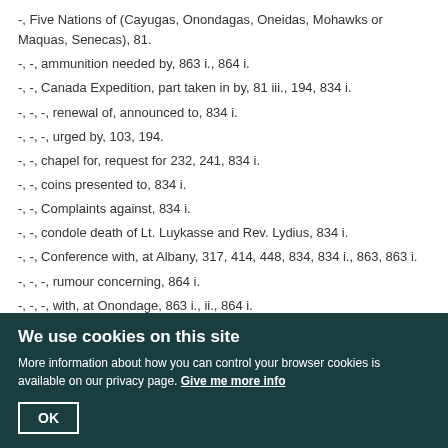-, Five Nations of (Cayugas, Onondagas, Oneidas, Mohawks or Maquas, Senecas), 81.
-, -, ammunition needed by, 863 i., 864 i.
-, -, Canada Expedition, part taken in by, 81 iii., 194, 834 i.
-, -, -, renewal of, announced to, 834 i.
-, -, -, urged by, 103, 194.
-, -, chapel for, request for 232, 241, 834 i.
-, -, coins presented to, 834 i.
-, -, Complaints against, 834 i.
-, -, condole death of Lt. Luykasse and Rev. Lydius, 834 i.
-, -, Conference with, at Albany, 317, 414, 448, 834, 834 i., 863, 863 i.
-, -, -, rumour concerning, 864 i.
-, -, -, with, at Onondage, 863 i., ii., 864 i.
We use cookies on this site
More information about how you can control your browser cookies is available on our privacy page. Give me more info
OK